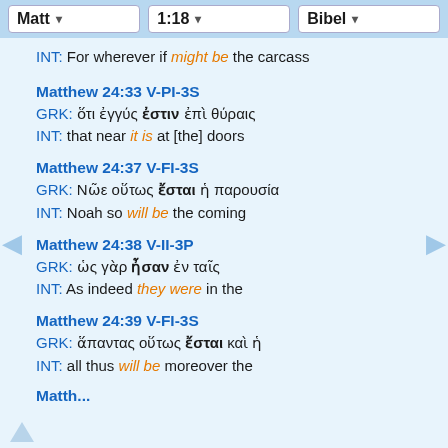Matt  1:18  Bibel
INT: For wherever if might be the carcass
Matthew 24:33 V-PI-3S
GRK: ὅτι ἐγγύς ἐστιν ἐπὶ θύραις
INT: that near it is at [the] doors
Matthew 24:37 V-FI-3S
GRK: Νῶε οὕτως ἔσται ἡ παρουσία
INT: Noah so will be the coming
Matthew 24:38 V-II-3P
GRK: ὡς γὰρ ἦσαν ἐν ταῖς
INT: As indeed they were in the
Matthew 24:39 V-FI-3S
GRK: ἅπαντας οὕτως ἔσται καὶ ἡ
INT: all thus will be moreover the